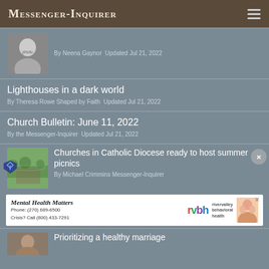Messenger-Inquirer
[Figure (photo): Black and white photo of a smiling woman]
By Neena Gaynor  Updated Jul 21, 2022
Lighthouses in a dark world
By Theresa Rowe Shaped by Faith  Updated Jul 21, 2022
Church Bulletin: June 11, 2022
By the Messenger-Inquirer  Updated Jul 21, 2022
[Figure (photo): Outdoor photo of people gathered at a summer event]
Churches in Catholic Diocese ready to host summer picnics
By Michael Crimmins Messenger-Inquirer
[Figure (infographic): Mental Health Matters advertisement for River Valley Behavioral Health. Phone: (270) 689-6500. Crisis? Call (800) 433-7291]
Prioritizing a healthy marriage